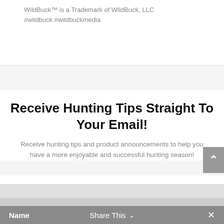WildBuck™ is a Trademark of WildBuck, LLC
#wildbuck #wildbuckmedia
Receive Hunting Tips Straight To Your Email!
Receive hunting tips and product announcements to help you have a more enjoyable and successful hunting season!
Name   Share This ∨   ×